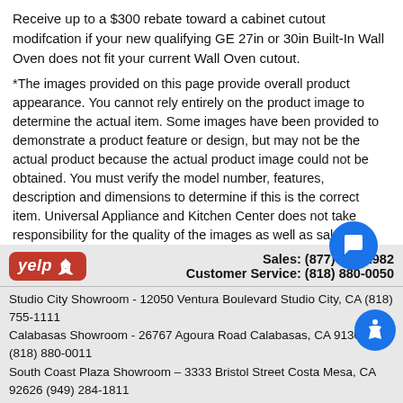Receive up to a $300 rebate toward a cabinet cutout modifcation if your new qualifying GE 27in or 30in Built-In Wall Oven does not fit your current Wall Oven cutout.
*The images provided on this page provide overall product appearance. You cannot rely entirely on the product image to determine the actual item. Some images have been provided to demonstrate a product feature or design, but may not be the actual product because the actual product image could not be obtained. You must verify the model number, features, description and dimensions to determine if this is the correct item. Universal Appliance and Kitchen Center does not take responsibility for the quality of the images as well as sales that result/resulted from the image as opposed to the model, description, features or color.
CALIFORNIA RESIDENTS ONLY - WARNING: Cancer and Reproductive Harm - www.P65Warnings.ca.gov
Sales: (877) 696-2982 Customer Service: (818) 880-0050 Studio City Showroom - 12050 Ventura Boulevard Studio City, CA (818) 755-1111 Calabasas Showroom - 26767 Agoura Road Calabasas, CA 91302 (818) 880-0011 South Coast Plaza Showroom – 3333 Bristol Street Costa Mesa, CA 92626 (949) 284-1811